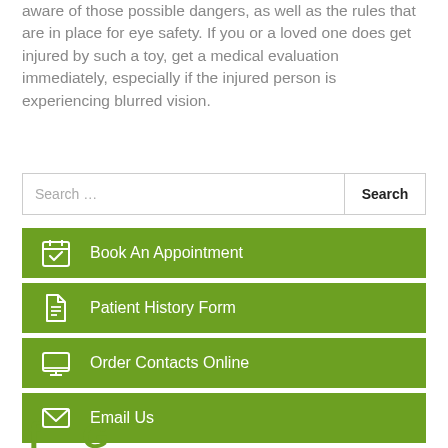aware of those possible dangers, as well as the rules that are in place for eye safety. If you or a loved one does get injured by such a toy, get a medical evaluation immediately, especially if the injured person is experiencing blurred vision.
[Figure (screenshot): Search bar with placeholder text 'Search ...' and a Search button on the right]
[Figure (infographic): Green button with calendar/checkbox icon and text 'Book An Appointment']
[Figure (infographic): Green button with document icon and text 'Patient History Form']
[Figure (infographic): Green button with laptop/monitor icon and text 'Order Contacts Online']
[Figure (infographic): Green button with envelope icon and text 'Email Us']
[Figure (infographic): Social media icons: Facebook (f) and Google (G) in green color]